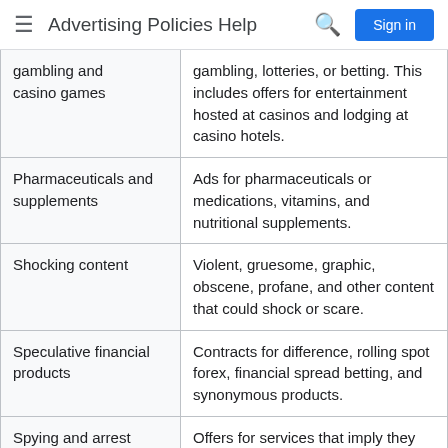Advertising Policies Help
| Category | Description |
| --- | --- |
| Gambling and casino games | Ads for online or real-world gambling, lotteries, or betting. This includes offers for entertainment hosted at casinos and lodging at casino hotels. |
| Pharmaceuticals and supplements | Ads for pharmaceuticals or medications, vitamins, and nutritional supplements. |
| Shocking content | Violent, gruesome, graphic, obscene, profane, and other content that could shock or scare. |
| Speculative financial products | Contracts for difference, rolling spot forex, financial spread betting, and synonymous products. |
| Spying and arrest records | Offers for services that imply they will help spy on a partner, or... |